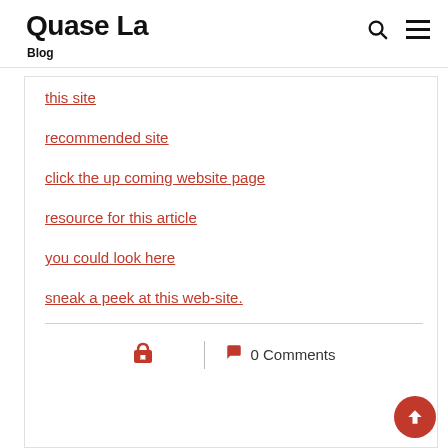Quase La Blog
this site
recommended site
click the up coming website page
resource for this article
you could look here
sneak a peek at this web-site.
0 Comments